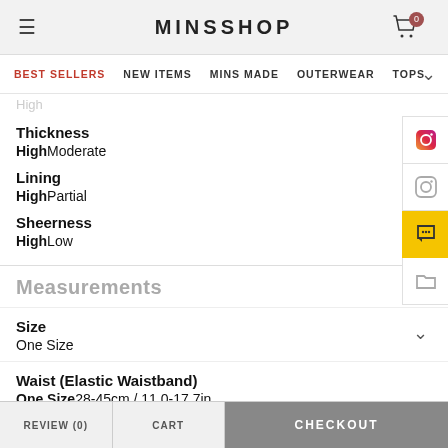MINSSHOP
BEST SELLERS  NEW ITEMS  MINS MADE  OUTERWEAR  TOPS
Thickness
HighModerate
Lining
HighPartial
Sheerness
HighLow
Measurements
Size
One Size
Waist (Elastic Waistband)
One Size28-45cm / 11.0-17.7in
Hip
One Size34cm / 13.4in
REVIEW (0)   CART   CHECKOUT